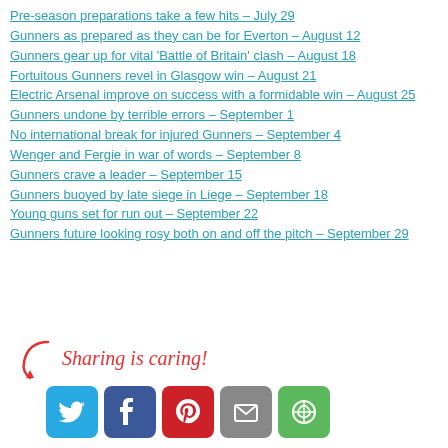Pre-season preparations take a few hits – July 29
Gunners as prepared as they can be for Everton – August 12
Gunners gear up for vital 'Battle of Britain' clash – August 18
Fortuitous Gunners revel in Glasgow win – August 21
Electric Arsenal improve on success with a formidable win – August 25
Gunners undone by terrible errors – September 1
No international break for injured Gunners – September 4
Wenger and Fergie in war of words – September 8
Gunners crave a leader – September 15
Gunners buoyed by late siege in Liege – September 18
Young guns set for run out – September 22
Gunners future looking rosy both on and off the pitch – September 29
[Figure (infographic): Sharing is caring! text with arrow and social media icons: Twitter, Facebook, Pinterest, Email, More]